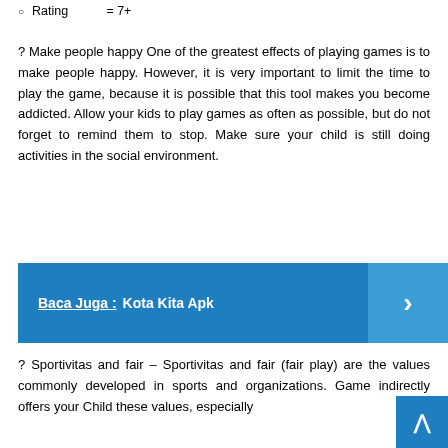Rating = 7+
? Make people happy One of the greatest effects of playing games is to make people happy. However, it is very important to limit the time to play the game, because it is possible that this tool makes you become addicted. Allow your kids to play games as often as possible, but do not forget to remind them to stop. Make sure your child is still doing activities in the social environment.
Baca Juga :  Kota Kita Apk
? Sportivitas and fair – Sportivitas and fair (fair play) are the values commonly developed in sports and organizations. Game indirectly offers your Child these values, especially